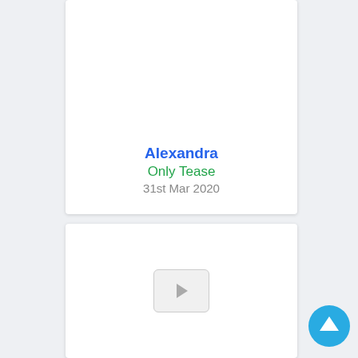[Figure (screenshot): White card panel with title text: Alexandra, Only Tease, 31st Mar 2020]
Alexandra
Only Tease
31st Mar 2020
[Figure (screenshot): White card panel with a video play button in the center]